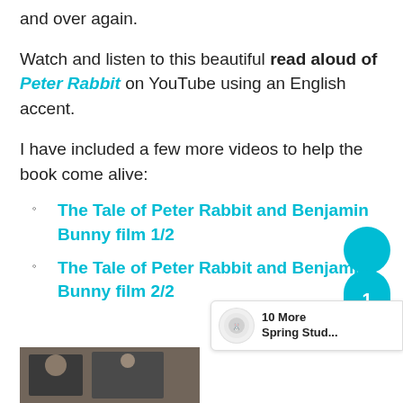and over again.
Watch and listen to this beautiful read aloud of Peter Rabbit on YouTube using an English accent.
I have included a few more videos to help the book come alive:
The Tale of Peter Rabbit and Benjamin Bunny film 1/2
The Tale of Peter Rabbit and Benjamin Bunny film 2/2
[Figure (photo): Bottom strip showing a partial photo of people or a scene, cropped at page bottom]
[Figure (other): UI overlay: teal circle and pill shape with number 1, and a banner reading '10 More Spring Stud...']